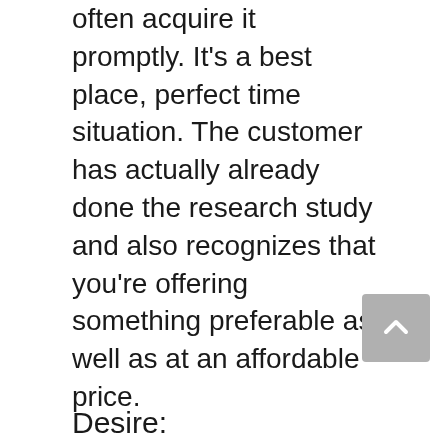often acquire it promptly. It's a best place, perfect time situation. The customer has actually already done the research study and also recognizes that you're offering something preferable as well as at an affordable price.
More frequently, the understanding stage is more of a courtship. You're trying to woo the possibility right into returning to your site and engaging extra with your company.
Desire: